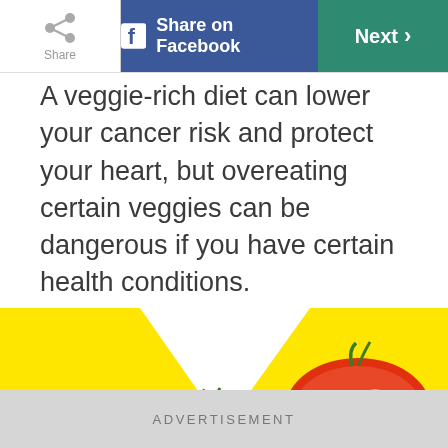Share | Share on Facebook | Next
A veggie-rich diet can lower your cancer risk and protect your heart, but overeating certain veggies can be dangerous if you have certain health conditions.
[Figure (photo): Photo of sliced red tomatoes on a yellow and white background, viewed from above.]
ADVERTISEMENT